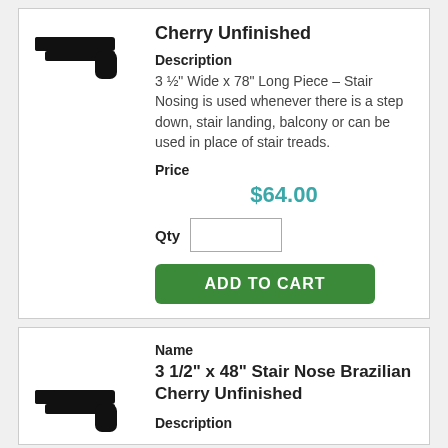[Figure (illustration): Black silhouette stair nose profile icon]
Cherry Unfinished
Description
3 ½" Wide x 78" Long Piece – Stair Nosing is used whenever there is a step down, stair landing, balcony or can be used in place of stair treads.
Price
$64.00
Qty
ADD TO CART
[Figure (illustration): Black silhouette stair nose profile icon]
Name
3 1/2" x 48" Stair Nose Brazilian Cherry Unfinished
Description